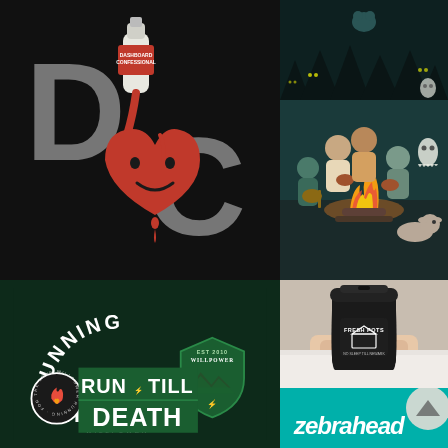[Figure (logo): Dashboard Confessional band logo: large stylized 'D' and 'C' letters in grey on black background, with a bottle labeled 'Dashboard Confessional' pouring red liquid into a heart-shaped face, with a drip below]
[Figure (illustration): Illustrated scene of a band around a campfire in teal/green tones with a bright yellow-orange fire; characters playing instruments, a ghost figure, and a dog; dark forest background with glowing eyes]
[Figure (illustration): Running/athletic apparel artwork on dark green background: arched text 'RUNNING WITH ATTITUDE - WILLPOWER', a shield badge reading 'EST 2010 WILLPOWER' with mountain and runner silhouettes, circular emblem with flame, and banner text 'RUN TILL DEATH']
[Figure (photo): Photo of woman holding a black travel coffee cup with 'Fresh Pots' branding toward camera; blurred background]
[Figure (logo): Zebrahead band logo in stylized graffiti font on teal background with a partial circular chevron/mountain icon]